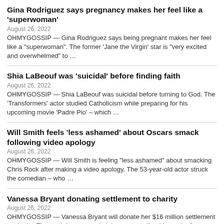Gina Rodriguez says pregnancy makes her feel like a ‘superwoman’
August 26, 2022
OHMYGOSSIP — Gina Rodriguez says being pregnant makes her feel like a “superwoman”. The former ‘Jane the Virgin’ star is “very excited and overwhelmed” to …
Shia LaBeouf was ‘suicidal’ before finding faith
August 26, 2022
OHMYGOSSIP — Shia LaBeouf was suicidal before turning to God. The ‘Transformers’ actor studied Catholicism while preparing for his upcoming movie ‘Padre Pio’ – which …
Will Smith feels ‘less ashamed’ about Oscars smack following video apology
August 26, 2022
OHMYGOSSIP — Will Smith is feeling “less ashamed” about smacking Chris Rock after making a video apology. The 53-year-old actor struck the comedian – who …
Vanessa Bryant donating settlement to charity
August 26, 2022
OHMYGOSSIP — Vanessa Bryant will donate her $16 million settlement to charity. The model was awarded damages earlier this week after a jury found the …
Sharon Horgan has a ‘recurring nightmare’ about killing